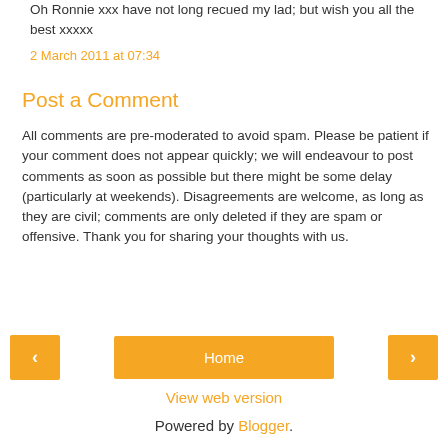Oh Ronnie xxx have not long recued my lad; but wish you all the best xxxxx
2 March 2011 at 07:34
Post a Comment
All comments are pre-moderated to avoid spam. Please be patient if your comment does not appear quickly; we will endeavour to post comments as soon as possible but there might be some delay (particularly at weekends). Disagreements are welcome, as long as they are civil; comments are only deleted if they are spam or offensive. Thank you for sharing your thoughts with us.
< Home > View web version Powered by Blogger.